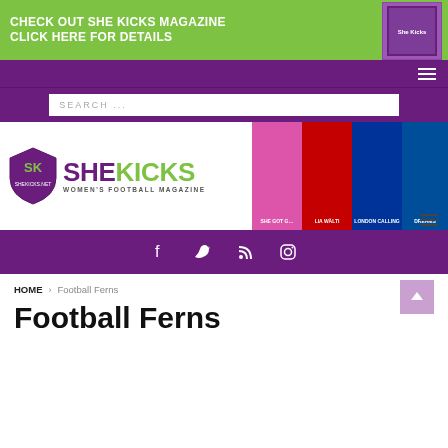[Figure (infographic): Green advertisement banner: CHECK OUT SHE KICKS MAGAZINE CLICK HERE FOR DETAILS with magazine cover image on right]
Navigation bar with hamburger menu icon
SEARCH ...
[Figure (logo): She Kicks Women's Football Magazine logo with shield emblem and multiple magazine covers on right]
Hamburger menu icon
[Figure (infographic): Purple social media bar with Facebook, Twitter, RSS feed, and Instagram icons]
HOME > Football Ferns
Football Ferns